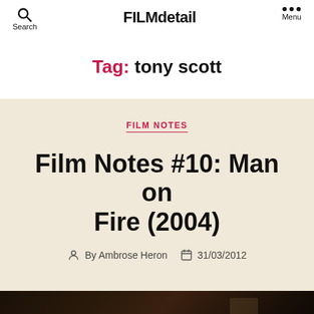FILMdetail
Tag: tony scott
FILM NOTES
Film Notes #10: Man on Fire (2004)
By Ambrose Heron   31/03/2012
[Figure (photo): Dark cinematic still from Man on Fire (2004), showing a shadowy scene with silhouetted figure and structural elements against a dark background]